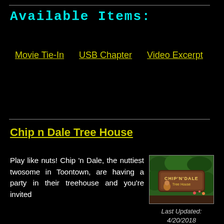Available Items:
Movie Tie-In
USB Chapter
Video Excerpt
Chip n Dale Tree House
Play like nuts! Chip 'n Dale, the nuttiest twosome in Toontown, are having a party in their treehouse and you're invited
[Figure (photo): Sign for Chip n Dale Tree House attraction at Toontown, with chipmunk characters and greenery]
Last Updated: 4/20/2018